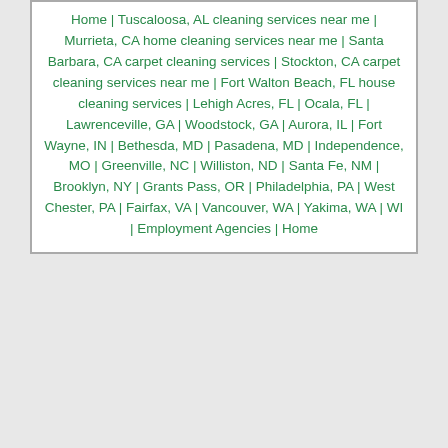Home | Tuscaloosa, AL cleaning services near me | Murrieta, CA home cleaning services near me | Santa Barbara, CA carpet cleaning services | Stockton, CA carpet cleaning services near me | Fort Walton Beach, FL house cleaning services | Lehigh Acres, FL | Ocala, FL | Lawrenceville, GA | Woodstock, GA | Aurora, IL | Fort Wayne, IN | Bethesda, MD | Pasadena, MD | Independence, MO | Greenville, NC | Williston, ND | Santa Fe, NM | Brooklyn, NY | Grants Pass, OR | Philadelphia, PA | West Chester, PA | Fairfax, VA | Vancouver, WA | Yakima, WA | WI | Employment Agencies | Home